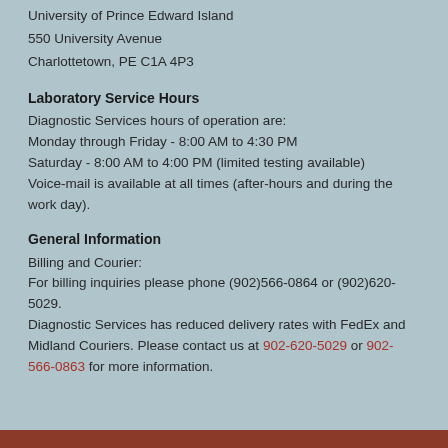University of Prince Edward Island
550 University Avenue
Charlottetown, PE C1A 4P3
Laboratory Service Hours
Diagnostic Services hours of operation are:
Monday through Friday - 8:00 AM to 4:30 PM
Saturday - 8:00 AM to 4:00 PM (limited testing available)
Voice-mail is available at all times (after-hours and during the work day).
General Information
Billing and Courier:
For billing inquiries please phone (902)566-0864 or (902)620-5029.
Diagnostic Services has reduced delivery rates with FedEx and Midland Couriers. Please contact us at 902-620-5029 or 902-566-0863 for more information.